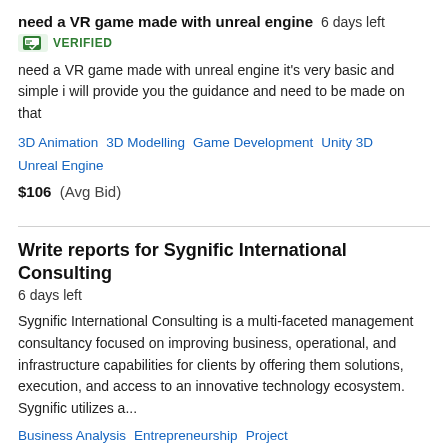need a VR game made with unreal engine  6 days left
VERIFIED
need a VR game made with unreal engine it's very basic and simple i will provide you the guidance and need to be made on that
3D Animation   3D Modelling   Game Development   Unity 3D   Unreal Engine
$106  (Avg Bid)
Write reports for Sygnific International Consulting
6 days left
Sygnific International Consulting is a multi-faceted management consultancy focused on improving business, operational, and infrastructure capabilities for clients by offering them solutions, execution, and access to an innovative technology ecosystem. Sygnific utilizes a...
Business Analysis   Entrepreneurship   Project